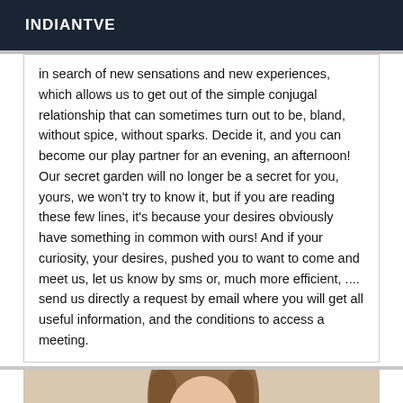INDIANTVE
in search of new sensations and new experiences, which allows us to get out of the simple conjugal relationship that can sometimes turn out to be, bland, without spice, without sparks. Decide it, and you can become our play partner for an evening, an afternoon! Our secret garden will no longer be a secret for you, yours, we won't try to know it, but if you are reading these few lines, it's because your desires obviously have something in common with ours! And if your curiosity, your desires, pushed you to want to come and meet us, let us know by sms or, much more efficient, .... send us directly a request by email where you will get all useful information, and the conditions to access a meeting.
[Figure (photo): A woman with long hair taking a selfie with a smartphone, shown from the shoulders up.]